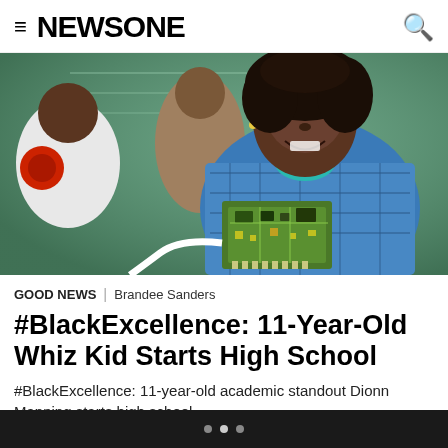≡ NEWSONE [search icon]
[Figure (photo): A smiling young Black girl holding a computer circuit board in a classroom setting, wearing a blue plaid shirt and teal undershirt, with braces on her teeth. Behind her are other students at a green chalkboard.]
GOOD NEWS | Brandee Sanders
#BlackExcellence: 11-Year-Old Whiz Kid Starts High School
#BlackExcellence: 11-year-old academic standout Dionn Manning starts high school